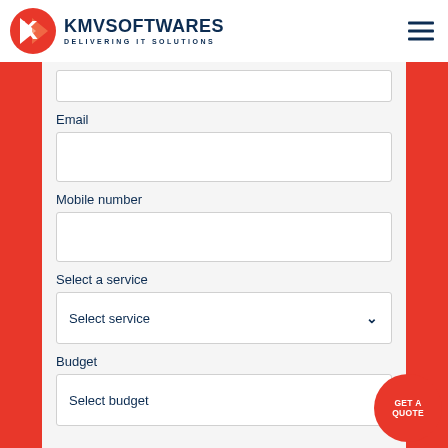KMVSOFTWARES DELIVERING IT SOLUTIONS
Email
Mobile number
Select a service
Select service
Budget
Select budget
GET A QUOTE